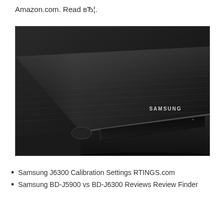Amazon.com. Read вЂ¦.
[Figure (photo): Close-up photo of a Samsung Blu-ray player (BD-J6300 or similar), showing the top and front of the black device with the Samsung logo and disc slot visible.]
Samsung J6300 Calibration Settings RTINGS.com
Samsung BD-J5900 vs BD-J6300 Reviews Review Finder